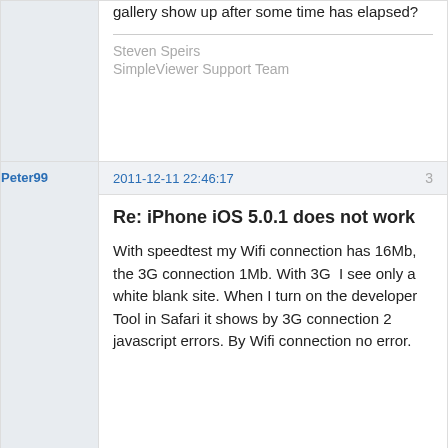gallery show up after some time has elapsed?
Steven Speirs
SimpleViewer Support Team
Peter99
2011-12-11 22:46:17
3
Re: iPhone iOS 5.0.1 does not work
With speedtest my Wifi connection has 16Mb, the 3G connection 1Mb. With 3G  I see only a white blank site. When I turn on the developer Tool in Safari it shows by 3G connection 2 javascript errors. By Wifi connection no error.
Steven @ Si...
2011-12-11 23:14:34
4
Re: iPhone iOS 5.0.1 does not work
The gallery files have not changed and you